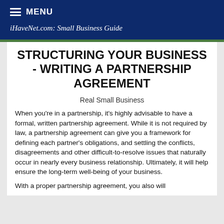MENU  iHaveNet.com: Small Business Guide
STRUCTURING YOUR BUSINESS - WRITING A PARTNERSHIP AGREEMENT
Real Small Business
When you're in a partnership, it's highly advisable to have a formal, written partnership agreement. While it is not required by law, a partnership agreement can give you a framework for defining each partner's obligations, and settling the conflicts, disagreements and other difficult-to-resolve issues that naturally occur in nearly every business relationship. Ultimately, it will help ensure the long-term well-being of your business.
With a proper partnership agreement, you also will